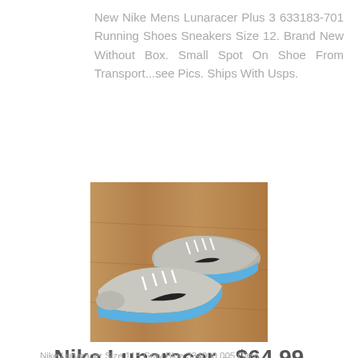New Nike Mens Lunaracer Plus 3 633183-701 Running Shoes Sneakers Size 12. Brand New Without Box. Small Spot On Shoe From Transport...see Pics. Ships With Usps.
[Figure (photo): Photo of a pair of Nike Lunaracer running shoes in gray/silver with light blue soles, placed on a wooden floor surface.]
Nike Lunaracer - $64.99
Nike Lunaracer Size 115 Gray Blue 334000 005 Circo...